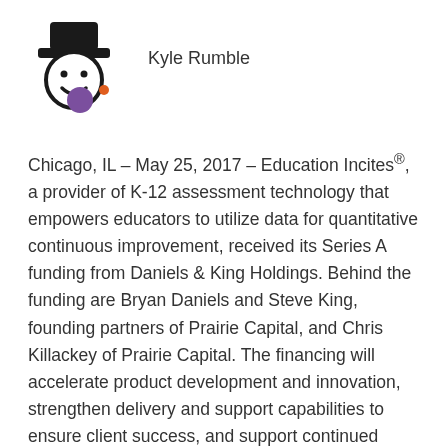[Figure (logo): Stylized cartoon face with top hat and purple circle, beside the name Kyle Rumble with an orange dot]
Chicago, IL – May 25, 2017 – Education Incites®, a provider of K-12 assessment technology that empowers educators to utilize data for quantitative continuous improvement, received its Series A funding from Daniels & King Holdings. Behind the funding are Bryan Daniels and Steve King, founding partners of Prairie Capital, and Chris Killackey of Prairie Capital. The financing will accelerate product development and innovation, strengthen delivery and support capabilities to ensure client success, and support continued growth.